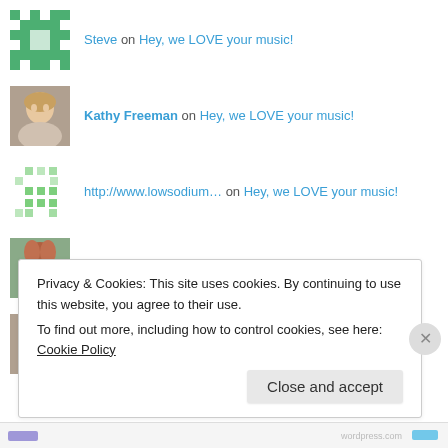Steve on Hey, we LOVE your music!
Kathy Freeman on Hey, we LOVE your music!
http://www.lowsodium… on Hey, we LOVE your music!
Jane on Hey, we LOVE your music!
Kathy Freeman on Hey, we LOVE your music!
Privacy & Cookies: This site uses cookies. By continuing to use this website, you agree to their use. To find out more, including how to control cookies, see here: Cookie Policy
Close and accept